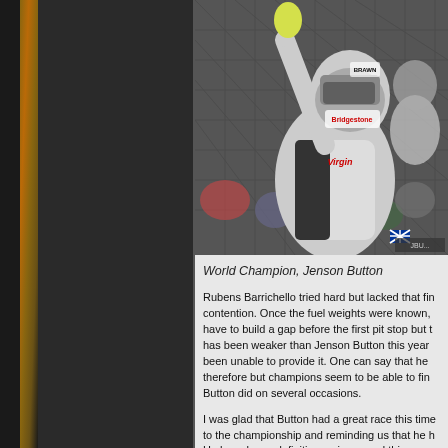[Figure (photo): Racing driver in white Brawn GP suit and Bridgestone helmet raising one finger in victory celebration gesture, crowd and fence in background]
World Champion, Jenson Button
Rubens Barrichello tried hard but lacked that finer contention. Once the fuel weights were known, have to build a gap before the first pit stop but t has been weaker than Jenson Button this year been unable to provide it. One can say that he therefore but champions seem to be able to fin Button did on several occasions.
I was glad that Button had a great race this time to the championship and reminding us that he h He has shown definitive racing speed this